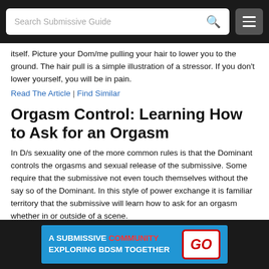Search Submissive Guide
itself. Picture your Dom/me pulling your hair to lower you to the ground. The hair pull is a simple illustration of a stressor. If you don't lower yourself, you will be in pain.
Read The Article | Find Similar
Orgasm Control: Learning How to Ask for an Orgasm
In D/s sexuality one of the more common rules is that the Dominant controls the orgasms and sexual release of the submissive. Some require that the submissive not even touch themselves without the say so of the Dominant. In this style of power exchange it is familiar territory that the submissive will learn how to ask for an orgasm whether in or outside of a scene.
Read The Article | Find Similar
A SUBMISSIVE COMMUNITY EXPLORING BDSM TOGETHER GO